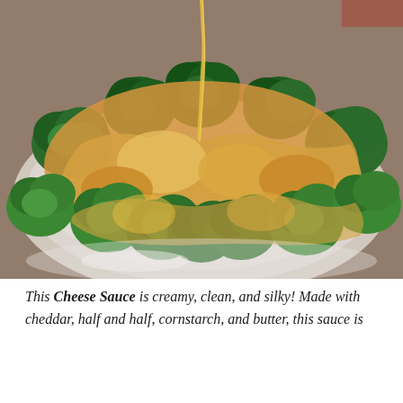[Figure (photo): A white plate with steamed broccoli florets covered in creamy yellow-orange cheese sauce being poured from above. The dish is photographed from a slight overhead angle on a light background.]
This Cheese Sauce is creamy, clean, and silky! Made with cheddar, half and half, cornstarch, and butter, this sauce is